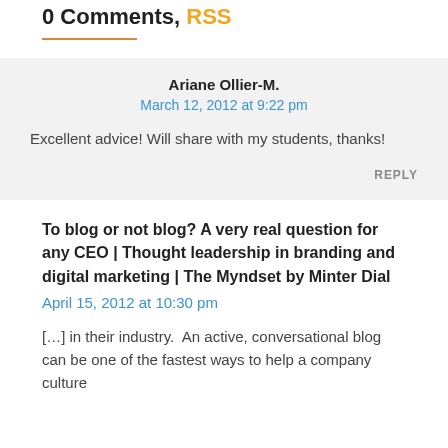0 Comments, RSS
Ariane Ollier-M.
March 12, 2012 at 9:22 pm
Excellent advice! Will share with my students, thanks!
REPLY
To blog or not blog? A very real question for any CEO | Thought leadership in branding and digital marketing | The Myndset by Minter Dial
April 15, 2012 at 10:30 pm
[…] in their industry.  An active, conversational blog can be one of the fastest ways to help a company culture